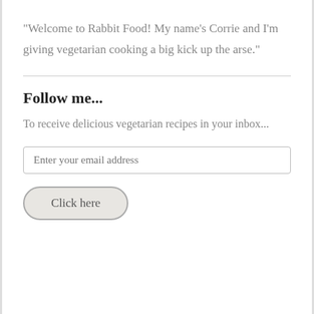"Welcome to Rabbit Food! My name's Corrie and I'm giving vegetarian cooking a big kick up the arse."
Follow me...
To receive delicious vegetarian recipes in your inbox...